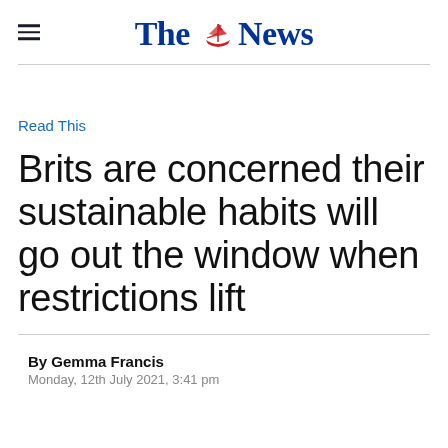The News
Read This
Brits are concerned their sustainable habits will go out the window when restrictions lift
By Gemma Francis
Monday, 12th July 2021, 3:41 pm